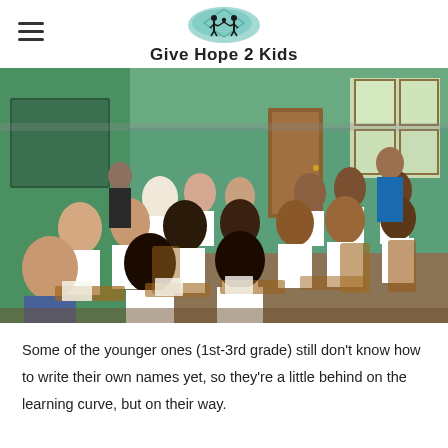Give Hope 2 Kids
[Figure (photo): A classroom full of students in white uniforms sitting at wooden desks, working on papers. Two adults stand at the back of the green-walled room with a chalkboard visible on the left.]
Some of the younger ones (1st-3rd grade) still don't know how to write their own names yet, so they're a little behind on the learning curve, but on their way.